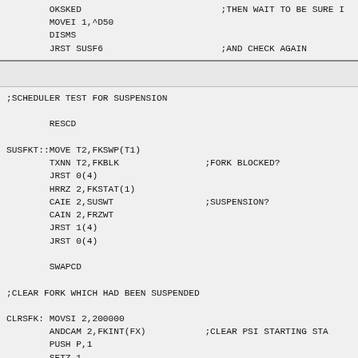OKSKED			;THEN WAIT TO BE SURE I
MOVEI 1,^D50
DISMS
JRST SUSF6		;AND CHECK AGAIN
;SCHEDULER TEST FOR SUSPENSION

	RESCD

SUSFKT::MOVE T2,FKSWP(T1)
	TXNN T2,FKBLK		;FORK BLOCKED?
	JRST 0(4)
	HRRZ 2,FKSTAT(1)
	CAIE 2,SUSWT		;SUSPENSION?
	CAIN 2,FRZWT
	JRST 1(4)
	JRST 0(4)

	SWAPCD

;CLEAR FORK WHICH HAD BEEN SUSPENDED

CLRSFK: MOVSI 2,200000
	ANDCAM 2,FKINT(FX)	;CLEAR PSI STARTING STA
	PUSH P,1
	SETZ 1,
	MOVE 2,FX
	CALL PSIRQB		;REQUEST TO RECHECK PEN